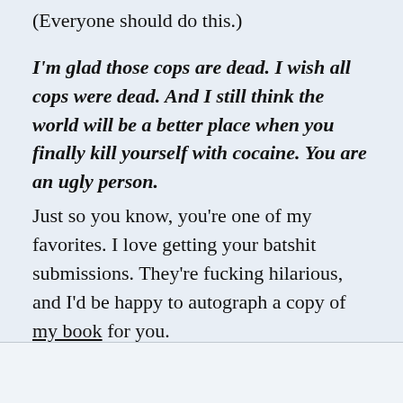(Everyone should do this.)
I'm glad those cops are dead. I wish all cops were dead. And I still think the world will be a better place when you finally kill yourself with cocaine. You are an ugly person.
Just so you know, you're one of my favorites. I love getting your batshit submissions. They're fucking hilarious, and I'd be happy to autograph a copy of my book for you.